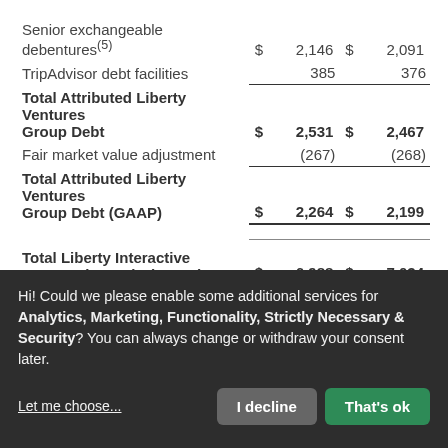|  | Col1 | Col2 |
| --- | --- | --- |
| Senior exchangeable debentures(5) | $ 2,146 | $ 2,091 |
| TripAdvisor debt facilities | 385 | 376 |
| Total Attributed Liberty Ventures Group Debt | $ 2,531 | $ 2,467 |
| Fair market value adjustment | (267) | (268) |
| Total Attributed Liberty Ventures Group Debt (GAAP) | $ 2,264 | $ 2,199 |
| Total Liberty Interactive Corporation Debt (GAAP) | $ 6,988 | $ 7,034 |
Hi! Could we please enable some additional services for Analytics, Marketing, Functionality, Strictly Necessary & Security? You can always change or withdraw your consent later.